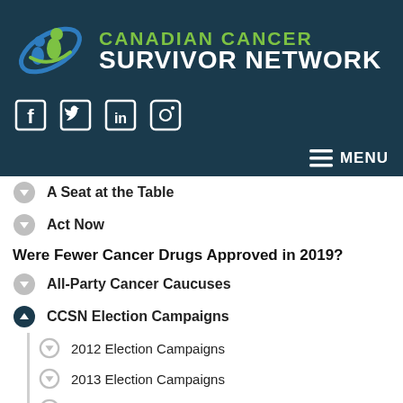[Figure (logo): Canadian Cancer Survivor Network logo with stylized figure icon in blue and green, and organization name in green and white text on dark blue background]
[Figure (infographic): Social media icons: Facebook, Twitter, LinkedIn, Instagram on dark blue background]
MENU
A Seat at the Table
Act Now
Were Fewer Cancer Drugs Approved in 2019?
All-Party Cancer Caucuses
CCSN Election Campaigns
2012 Election Campaigns
2013 Election Campaigns
2014 Election Campaigns
2015 Election Campaigns
2016 Election Campaigns